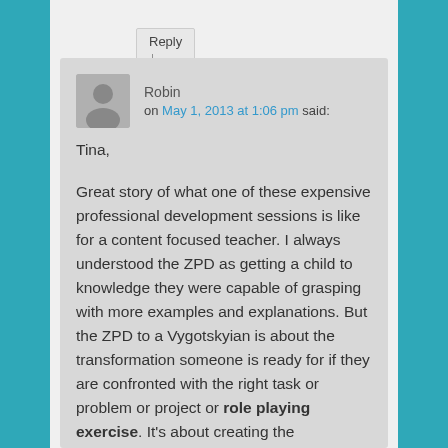Reply ↓
Robin on May 1, 2013 at 1:06 pm said:
Tina,

Great story of what one of these expensive professional development sessions is like for a content focused teacher. I always understood the ZPD as getting a child to knowledge they were capable of grasping with more examples and explanations. But the ZPD to a Vygotskyian is about the transformation someone is ready for if they are confronted with the right task or problem or project or role playing exercise. It's about creating the contradiction if you use Hegelian language